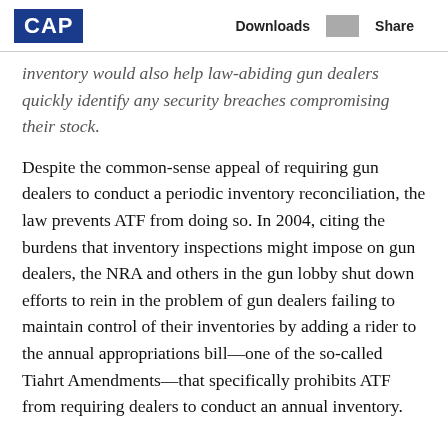CAP | Downloads | Share
inventory would also help law-abiding gun dealers quickly identify any security breaches compromising their stock.
Despite the common-sense appeal of requiring gun dealers to conduct a periodic inventory reconciliation, the law prevents ATF from doing so. In 2004, citing the burdens that inventory inspections might impose on gun dealers, the NRA and others in the gun lobby shut down efforts to rein in the problem of gun dealers failing to maintain control of their inventories by adding a rider to the annual appropriations bill—one of the so-called Tiahrt Amendments—that specifically prohibits ATF from requiring dealers to conduct an annual inventory.